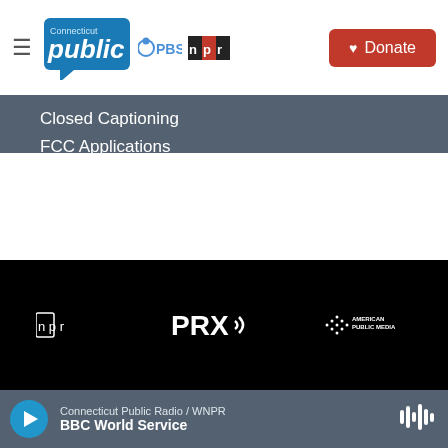[Figure (logo): Connecticut Public PBS NPR logo header with hamburger menu and Donate button]
Closed Captioning
FCC Applications
Syndication Policy
Conflict of Interest Policy
Editorial Independence Policy
[Figure (logo): Footer logos: NPR, PRX, American Public Media on black background]
Connecticut Public Radio / WNPR
BBC World Service